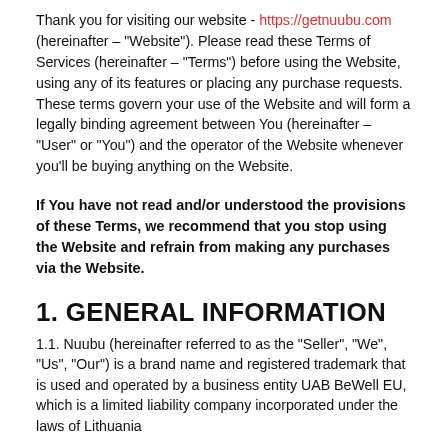Thank you for visiting our website - https://getnuubu.com (hereinafter – "Website"). Please read these Terms of Services (hereinafter – "Terms") before using the Website, using any of its features or placing any purchase requests. These terms govern your use of the Website and will form a legally binding agreement between You (hereinafter – "User" or "You") and the operator of the Website whenever you'll be buying anything on the Website.
If You have not read and/or understood the provisions of these Terms, we recommend that you stop using the Website and refrain from making any purchases via the Website.
1. GENERAL INFORMATION
1.1. Nuubu (hereinafter referred to as the "Seller", "We", "Us", "Our") is a brand name and registered trademark that is used and operated by a business entity UAB BeWell EU, which is a limited liability company incorporated under the laws of Lithuania